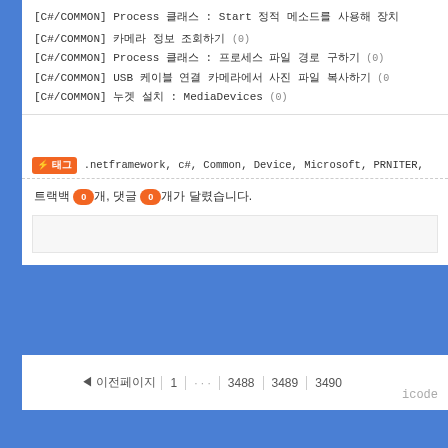[C#/COMMON] Process 클래스 : Start 정적 메소드를 사용해 장치
[C#/COMMON] 카메라 정보 조회하기 (0)
[C#/COMMON] Process 클래스 : 프로세스 파일 경로 구하기 (0)
[C#/COMMON] USB 케이블 연결 카메라에서 사진 파일 복사하기 (0)
[C#/COMMON] 누겟 설치 : MediaDevices (0)
태그 .netframework, c#, Common, Device, Microsoft, PRNITER,
트랙백 0개, 댓글 0개가 달렸습니다.
◄ 이전페이지 | 1 | · · · | 3488 | 3489 | 3490 |
icode